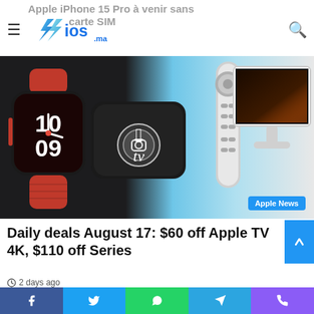Apple iPhone 15 Pro à venir sans aucune carte SIM
[Figure (screenshot): Website header with hamburger menu, ios.ma logo, and search icon]
[Figure (photo): Hero image showing Apple Watch Series 7 in red, Apple TV 4K box, Siri Remote, Apple monitor, with Apple News badge]
Daily deals August 17: $60 off Apple TV 4K, $110 off Series
2 days ago
[Figure (infographic): Social share bar with Facebook, Twitter, WhatsApp, Telegram, Phone icons]